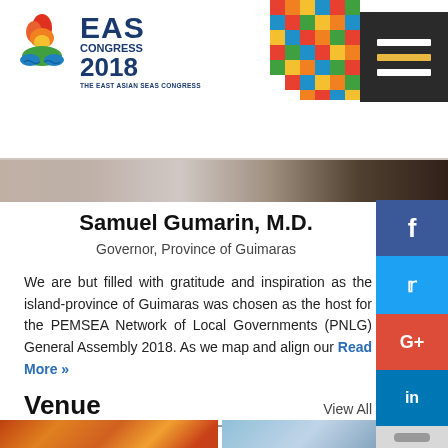[Figure (screenshot): EAS Congress 2018 website header with logo, MENU button, colorful pixel-art corner decoration, and a banner strip photo]
Samuel Gumarin, M.D.
Governor, Province of Guimaras
We are but filled with gratitude and inspiration as the island-province of Guimaras was chosen as the host for the PEMSEA Network of Local Governments (PNLG) General Assembly 2018. As we map and align our Read More »
Venue
View All
[Figure (photo): Colorful festival/cultural performance photo on left]
[Figure (photo): Blue sky and architectural/landmark photo on right]